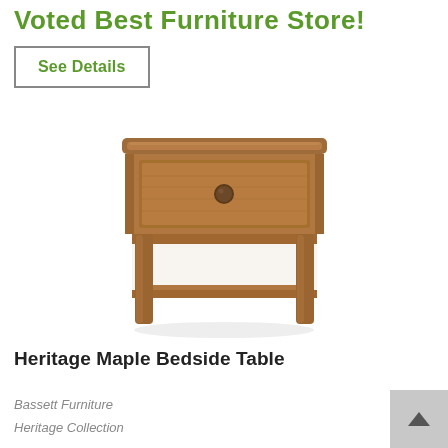Voted Best Furniture Store!
See Details
[Figure (photo): A rustic Heritage Maple Bedside Table with one drawer featuring a round knob pull and an open lower shelf, shown on a white background. The table is made of warm medium-brown wood with a traditional style.]
Heritage Maple Bedside Table
Bassett Furniture
Heritage Collection